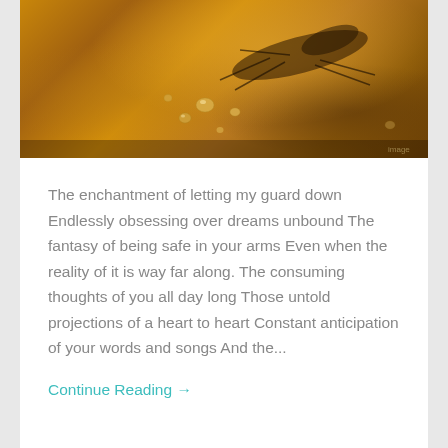[Figure (photo): Close-up macro photograph of an insect (fly) on a wet surface with water droplets, warm amber/golden tones]
The enchantment of letting my guard down Endlessly obsessing over dreams unbound The fantasy of being safe in your arms Even when the reality of it is way far along. The consuming thoughts of you all day long Those untold projections of a heart to heart Constant anticipation of your words and songs And the...
Continue Reading →
June 14, 2021   0